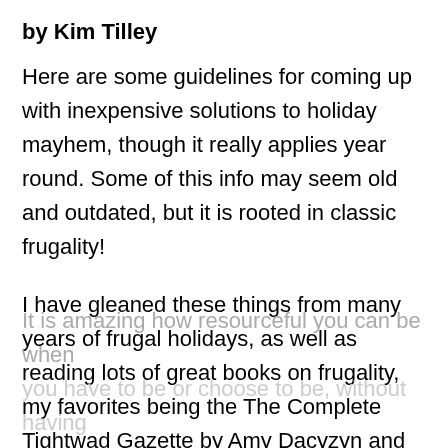by Kim Tilley
Here are some guidelines for coming up with inexpensive solutions to holiday mayhem, though it really applies year round. Some of this info may seem old and outdated, but it is rooted in classic frugality!
I have gleaned these things from many years of frugal holidays, as well as reading lots of great books on frugality, my favorites being the The Complete Tightwad Gazette by Amy Dacyzyn and some of the books about the Great Depression. It is amazing how resourceful you can be when you have to be or choose to be, without having